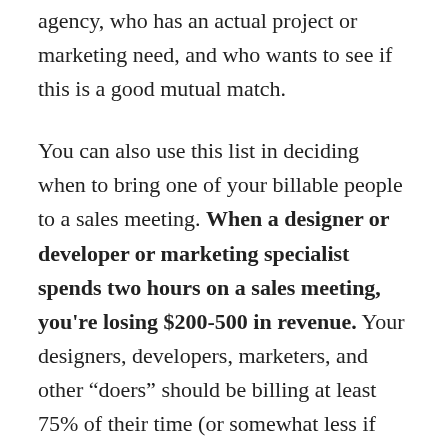agency, who has an actual project or marketing need, and who wants to see if this is a good mutual match.
You can also use this list in deciding when to bring one of your billable people to a sales meeting. When a designer or developer or marketing specialist spends two hours on a sales meeting, you're losing $200-500 in revenue. Your designers, developers, marketers, and other “doers” should be billing at least 75% of their time (or somewhat less if they’re actively involved in the sales process).